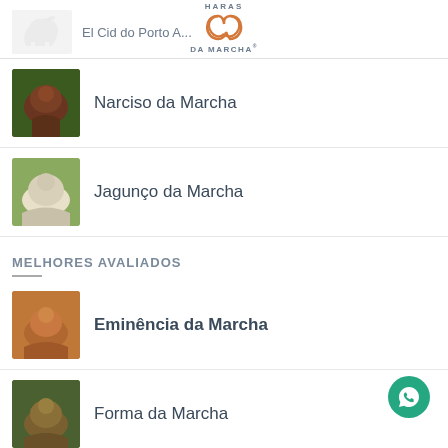[Figure (logo): Haras da Marcha logo with two interlocking circles in orange and text HARAS / DA MARCHA]
El Cid do Porto A...
Narciso da Marcha
Jagunço da Marcha
MELHORES AVALIADOS
Eminência da Marcha
Forma da Marcha